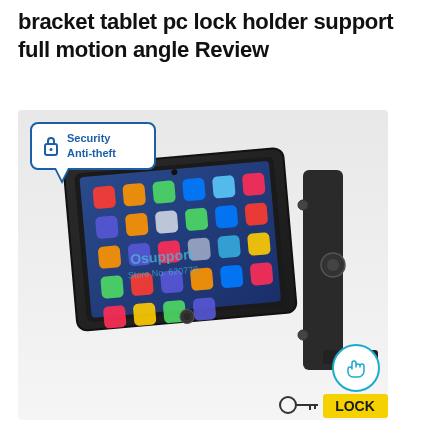bracket tablet pc lock holder support full motion angle Review
[Figure (photo): Product photo of a black security wall-mount bracket/holder for a tablet PC (iPad), shown mounted on a wall bracket with full motion angle adjustment. The tablet displays an iOS home screen. A 'Security Anti-theft' speech-bubble badge is overlaid in the top-left. A hand/thumb icon in a teal circle appears bottom-right. A partial 'LOCK' label with key icon appears at bottom right corner.]